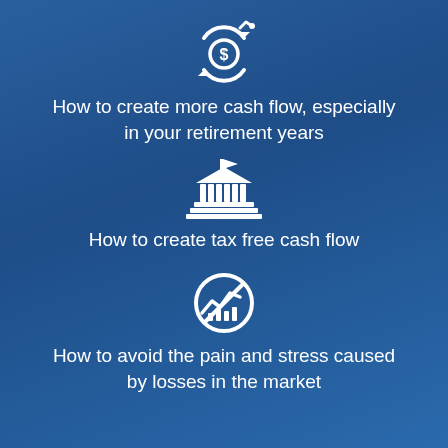[Figure (illustration): White icon of a dollar coin with circular arrows and a small graph/arrow, representing cash flow cycle]
How to create more cash flow, especially in your retirement years
[Figure (illustration): White icon of a government/bank building with columns and a flag on top, representing tax/government]
How to create tax free cash flow
[Figure (illustration): White icon of a stock market graph inside a circle with a diagonal line through it (no/prohibition symbol), representing avoiding market losses]
How to avoid the pain and stress caused by losses in the market